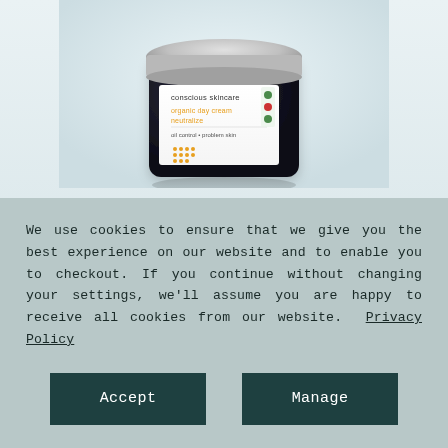[Figure (photo): A dark glass jar of 'Conscious Skincare organic day cream neutralize' with a silver lid, shown from a slightly elevated angle on a light blue-grey background. The label shows yellow text for the product name, with 'oil control • problem skin' and a yellow dot pattern.]
Neutralize Day Organic Cream
We use cookies to ensure that we give you the best experience on our website and to enable you to checkout. If you continue without changing your settings, we'll assume you are happy to receive all cookies from our website. Privacy Policy
Accept
Manage